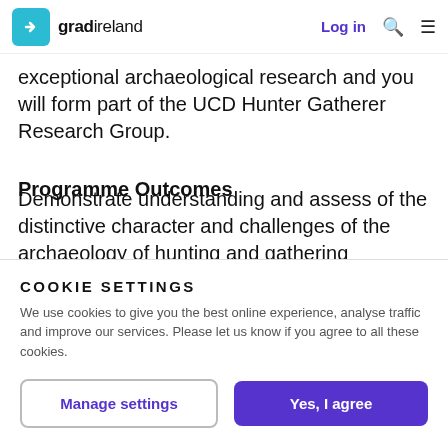gradireland | Log in
exceptional archaeological research and you will form part of the UCD Hunter Gatherer Research Group.
Programme Outcomes
Demonstrate understanding and assess of the distinctive character and challenges of the archaeology of hunting and gathering communities
COOKIE SETTINGS
We use cookies to give you the best online experience, analyse traffic and improve our services. Please let us know if you agree to all these cookies.
Manage settings
Yes, I agree